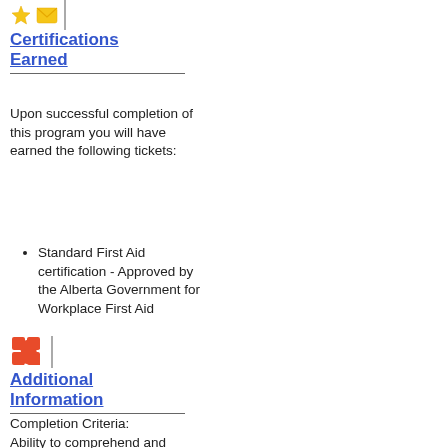[Figure (illustration): Two small gold/yellow icons (star and envelope/badge) followed by a vertical bar]
Certifications Earned
Upon successful completion of this program you will have earned the following tickets:
Standard First Aid certification - Approved by the Alberta Government for Workplace First Aid
[Figure (illustration): Orange puzzle piece icon followed by a vertical bar]
Additional Information
Completion Criteria: Ability to comprehend and successfully